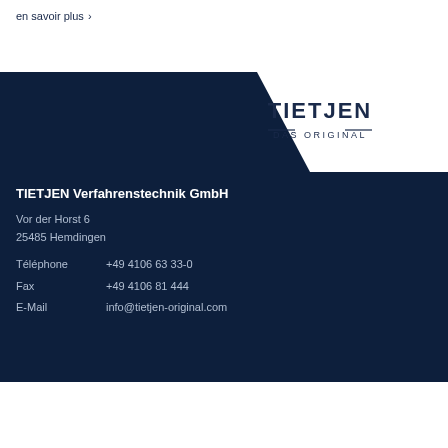en savoir plus >
[Figure (logo): TIETJEN DAS ORIGINAL logo on dark navy background with diagonal slant design]
TIETJEN Verfahrenstechnik GmbH
Vor der Horst 6
25485 Hemdingen
Téléphone   +49 4106 63 33-0
Fax   +49 4106 81 444
E-Mail   info@tietjen-original.com